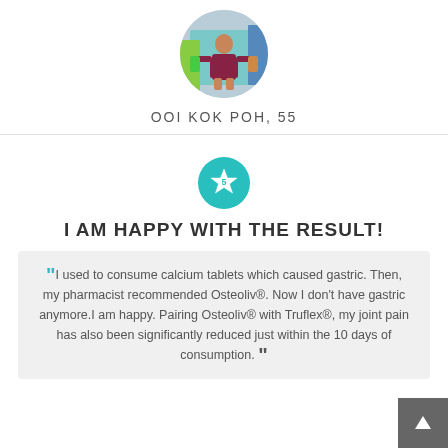[Figure (photo): Circular profile photo of a person holding something in a store/shop environment]
OOI KOK POH, 55
[Figure (other): Teal circular badge with a white star icon and number 5 inside]
I AM HAPPY WITH THE RESULT!
"I used to consume calcium tablets which caused gastric. Then, my pharmacist recommended Osteoliv®. Now I don't have gastric anymore.I am happy. Pairing Osteoliv® with Truflex®, my joint pain has also been significantly reduced just within the 10 days of consumption."